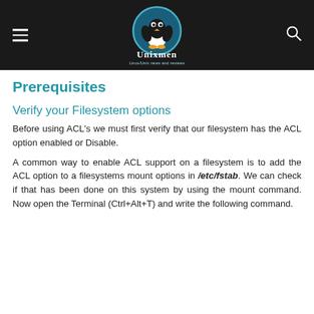Unixmen — Linux/Unix news and reviews
Prerequisites
Verify your Filesystem options
Before using ACL's we must first verify that our filesystem has the ACL option enabled or Disable.
A common way to enable ACL support on a filesystem is to add the ACL option to a filesystems mount options in /etc/fstab. We can check if that has been done on this system by using the mount command. Now open the Terminal (Ctrl+Alt+T) and write the following command.